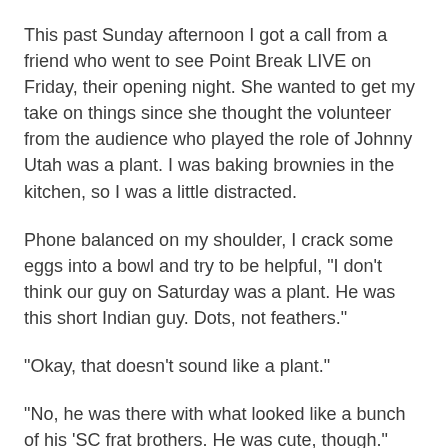This past Sunday afternoon I got a call from a friend who went to see Point Break LIVE on Friday, their opening night. She wanted to get my take on things since she thought the volunteer from the audience who played the role of Johnny Utah was a plant. I was baking brownies in the kitchen, so I was a little distracted.
Phone balanced on my shoulder, I crack some eggs into a bowl and try to be helpful, "I don't think our guy on Saturday was a plant. He was this short Indian guy. Dots, not feathers."
"Okay, that doesn't sound like a plant."
"No, he was there with what looked like a bunch of his 'SC frat brothers. He was cute, though."
"They were 45 minutes late in starting on Friday. It was crazy. I got there and they were still hanging lights. Gary Leonard was pissed."